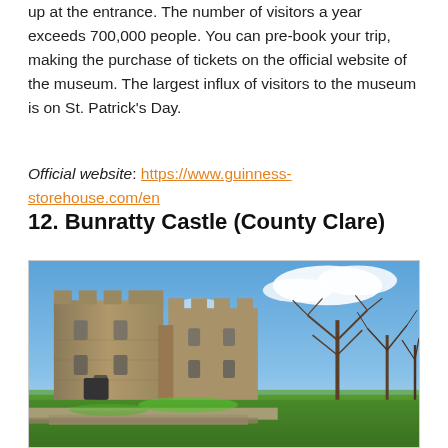up at the entrance. The number of visitors a year exceeds 700,000 people. You can pre-book your trip, making the purchase of tickets on the official website of the museum. The largest influx of visitors to the museum is on St. Patrick's Day.
Official website: https://www.guinness-storehouse.com/en
12. Bunratty Castle (County Clare)
[Figure (photo): Photo of Bunratty Castle, a large stone medieval tower house with battlements, set against a blue sky with clouds. Bare trees visible to the right, green lawn in the foreground with stone steps.]